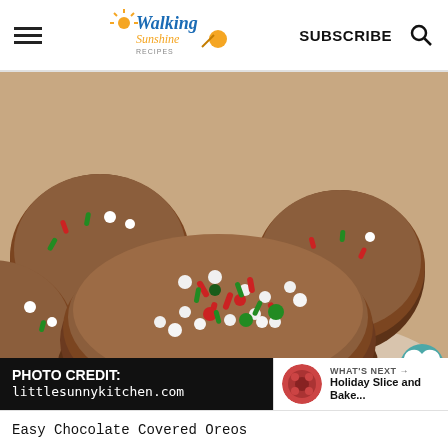Walking Sunshine Recipes | SUBSCRIBE
[Figure (photo): Close-up photo of chocolate covered Oreo cookies decorated with red, green, and white Christmas sprinkles on a white plate]
PHOTO CREDIT: littlesunnykitchen.com
WHAT'S NEXT → Holiday Slice and Bake...
Easy Chocolate Covered Oreos